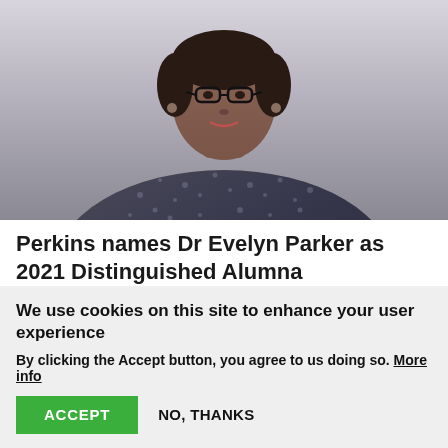[Figure (photo): Portrait photo of Dr. Evelyn Parker, a woman wearing glasses and a dark patterned wrap/shawl, photographed against a light grey background]
Perkins names Dr Evelyn Parker as 2021 Distinguished Alumna
The Perkins School of Theology Alumni/ae Council selected Dr Evelyn L. Parker as the 2021 recipient of the Perkins Distinguished Alumnus/a Award. The
We use cookies on this site to enhance your user experience
By clicking the Accept button, you agree to us doing so. More info
ACCEPT
NO, THANKS